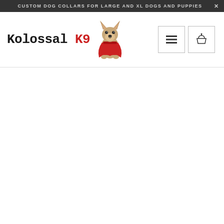CUSTOM DOG COLLARS FOR LARGE AND XL DOGS AND PUPPIES ×
[Figure (logo): Kolossal K9 logo with stylized text and a cartoon German Shepherd dog wearing a red superhero cape, sitting upright]
[Figure (other): Hamburger menu icon button (three horizontal lines) in a square border]
[Figure (other): Shopping basket/cart icon button in a square border]